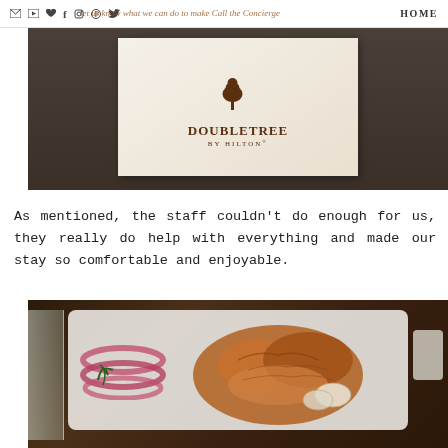HOME  [nav icons: email, youtube, heart, facebook, instagram, pinterest, twitter]
[Figure (photo): DoubleTree by Hilton hotel logo on a card/menu in a dark leather holder, cream background with brown tree-and-crescent logo]
As mentioned, the staff couldn't do enough for us, they really do help with everything and made our stay so comfortable and enjoyable.
[Figure (photo): Close-up of a plate of fried food (likely Indian appetizers/snacks) with red onion rings, herbs, lemon, and dipping sauces on a dark wooden table]